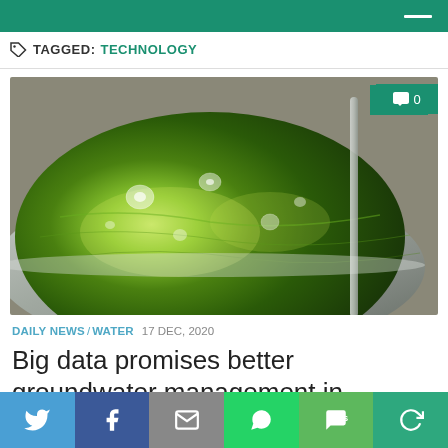TAGGED: TECHNOLOGY
[Figure (photo): Close-up photo of green contaminated or algae-filled water in a metal bowl or bucket, with water droplets visible on the surface]
DAILY NEWS / WATER  17 DEC, 2020
Big data promises better groundwater management in California